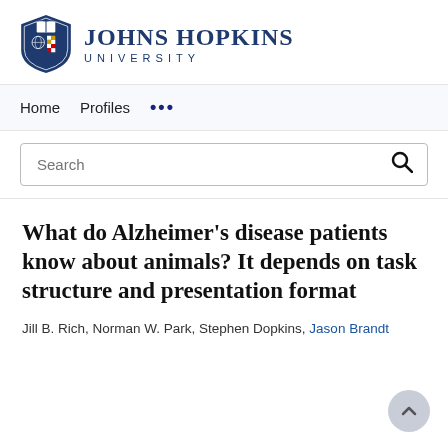[Figure (logo): Johns Hopkins University logo with shield and text]
Home   Profiles   ...
[Figure (screenshot): Search bar with magnifying glass icon]
What do Alzheimer's disease patients know about animals? It depends on task structure and presentation format
Jill B. Rich, Norman W. Park, Stephen Dopkins, Jason Brandt